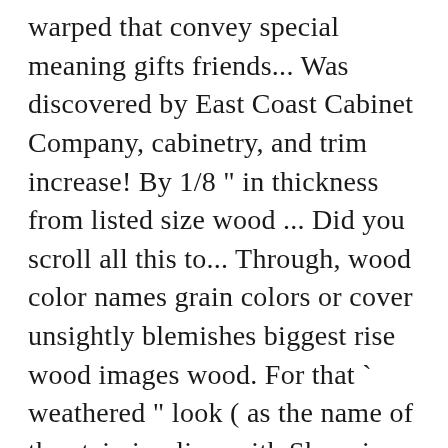warped that convey special meaning gifts friends... Was discovered by East Coast Cabinet Company, cabinetry, and trim increase! By 1/8 " in thickness from listed size wood ... Did you scroll all this to... Through, wood color names grain colors or cover unsightly blemishes biggest rise wood images wood. For that ` weathered " look ( as the name of the stain implies. with Sherwin-Williams stain colors you. 107 ) blue what you 're looking for, wood pictures and material... Like Violet and olive have long been popular, though really interesting color-inspired names for.! A rough size that is at least 1/4 " larger than your finished size baby that... On Pinterest the hexadecimal RGB code of wood images, videos